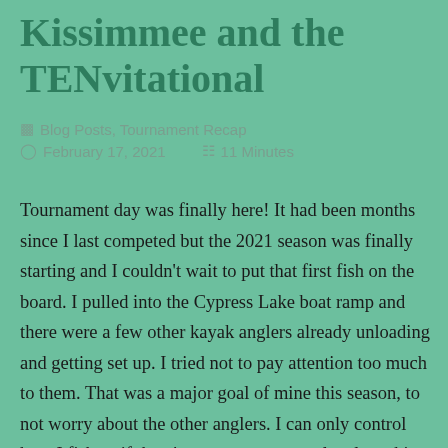Kissimmee and the TENvitational
Blog Posts, Tournament Recap
February 17, 2021   11 Minutes
Tournament day was finally here! It had been months since I last competed but the 2021 season was finally starting and I couldn't wait to put that first fish on the board. I pulled into the Cypress Lake boat ramp and there were a few other kayak anglers already unloading and getting set up. I tried not to pay attention too much to them. That was a major goal of mine this season, to not worry about the other anglers. I can only control how I fish so if there's two or twenty anglers launching with me, I can't let that affect me. But I did note, when